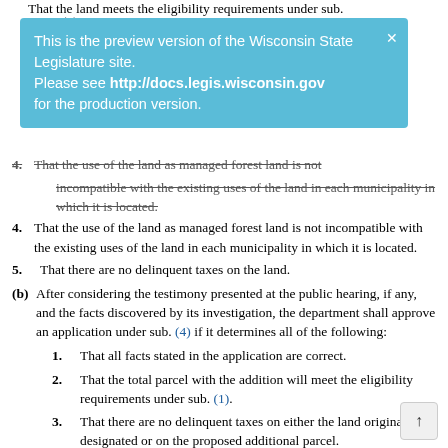That the land meets the eligibility requirements under sub. (1)
[Figure (other): Blue preview banner for Wisconsin State Legislature website: 'This is the preview version of the Wisconsin State Legislature site. Please see http://docs.legis.wisconsin.gov for the production version.']
4. That the use of the land as managed forest land is not incompatible with the existing uses of the land in each municipality in which it is located.
5. That there are no delinquent taxes on the land.
(b) After considering the testimony presented at the public hearing, if any, and the facts discovered by its investigation, the department shall approve an application under sub. (4) if it determines all of the following:
1. That all facts stated in the application are correct.
2. That the total parcel with the addition will meet the eligibility requirements under sub. (1).
3. That there are no delinquent taxes on either the land originally designated or on the proposed additional parcel.
4. That the owner agrees to any amendments to the management plan determined by the department to be necessary as a result of the addition.
(c) Except as provided in par. (d), if an application is received